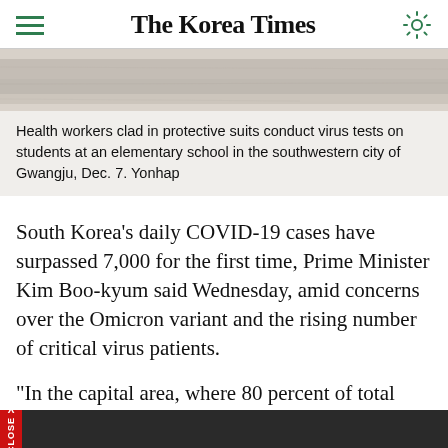The Korea Times
[Figure (photo): Health workers in protective suits at an elementary school — a light-toned photo strip showing a sandy or concrete surface]
Health workers clad in protective suits conduct virus tests on students at an elementary school in the southwestern city of Gwangju, Dec. 7. Yonhap
South Korea's daily COVID-19 cases have surpassed 7,000 for the first time, Prime Minister Kim Boo-kyum said Wednesday, amid concerns over the Omicron variant and the rising number of critical virus patients.
"In the capital area, where 80 percent of total cases are reported, we continue to add hospital beds with active